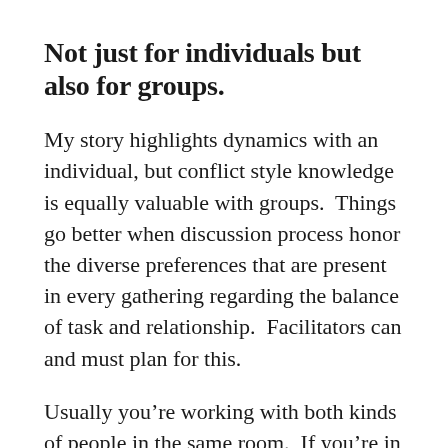Not just for individuals but also for groups.
My story highlights dynamics with an individual, but conflict style knowledge is equally valuable with groups.  Things go better when discussion process honor the diverse preferences that are present in every gathering regarding the balance of task and relationship.  Facilitators can and must plan for this.
Usually you’re working with both kinds of people in the same room.  If you’re in charge, you can walk the tightrope by